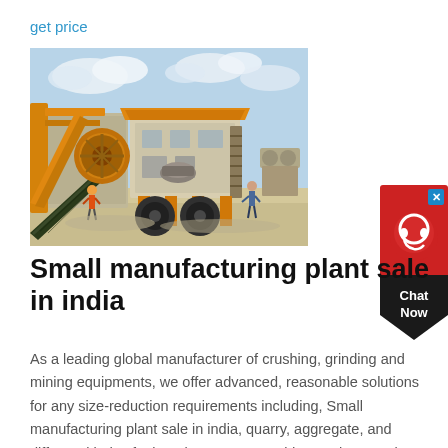get price
[Figure (photo): Large yellow mobile stone crushing and mining plant equipment outdoors on a sandy worksite with blue sky and clouds in background.]
Small manufacturing plant sale in india
As a leading global manufacturer of crushing, grinding and mining equipments, we offer advanced, reasonable solutions for any size-reduction requirements including, Small manufacturing plant sale in india, quarry, aggregate, and different kinds of minerals. We can provide you the complete stone crushing and